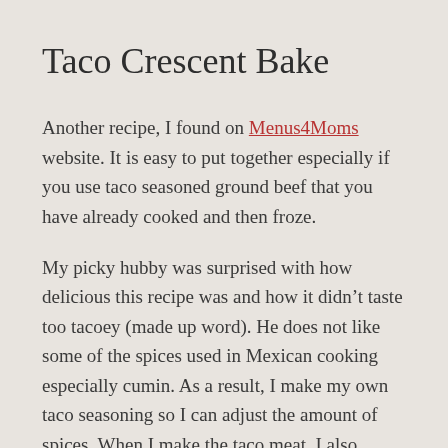Taco Crescent Bake
Another recipe, I found on Menus4Moms website.  It is easy to put together especially if you use taco seasoned ground beef that you have already cooked and then froze.
My picky hubby was surprised with how delicious this recipe was and how it didn’t taste too tacoey (made up word).  He does not like some of the spices used in Mexican cooking especially cumin.  As a result, I make my own taco seasoning so I can adjust the amount of spices.  When I make the taco meat, I also adjust the amount of taco seasoning.